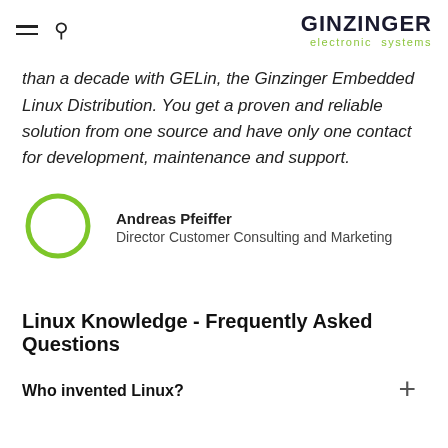GINZINGER electronic systems
than a decade with GELin, the Ginzinger Embedded Linux Distribution. You get a proven and reliable solution from one source and have only one contact for development, maintenance and support.
[Figure (illustration): Green circle outline representing a person avatar placeholder]
Andreas Pfeiffer
Director Customer Consulting and Marketing
Linux Knowledge - Frequently Asked Questions
Who invented Linux?